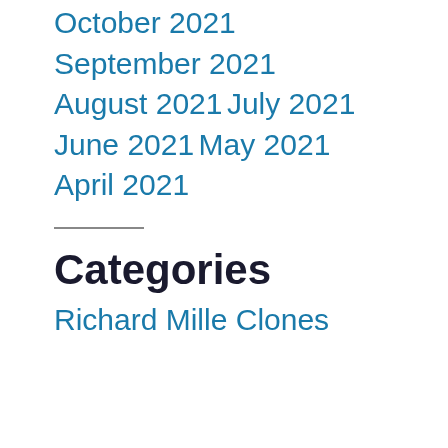October 2021
September 2021
August 2021
July 2021
June 2021
May 2021
April 2021
Categories
Richard Mille Clones